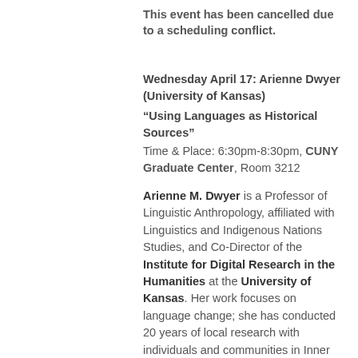This event has been cancelled due to a scheduling conflict.
Wednesday April 17: Arienne Dwyer (University of Kansas)
“Using Languages as Historical Sources”
Time & Place: 6:30pm-8:30pm, CUNY Graduate Center, Room 3212
Arienne M. Dwyer is a Professor of Linguistic Anthropology, affiliated with Linguistics and Indigenous Nations Studies, and Co-Director of the Institute for Digital Research in the Humanities at the University of Kansas. Her work focuses on language change; she has conducted 20 years of local research with individuals and communities in Inner and Central Asia and has directed a number of collaborative documentation and archiving projects.
Thursday May 2: Beth Harris (Khan Academy)
“Art History Education Goes Digital: The Problem (& Promise) of the Digital Image”
Time & Place: 6:30pm-8:30pm, CUNY Graduate Center,